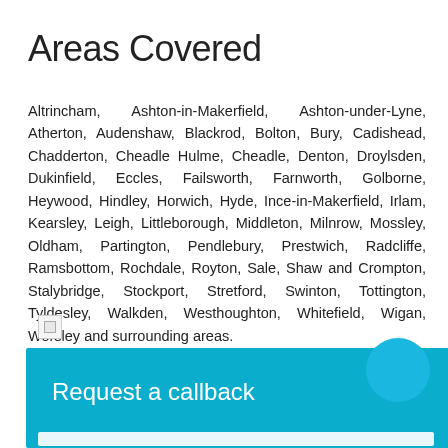Areas Covered
Altrincham, Ashton-in-Makerfield, Ashton-under-Lyne, Atherton, Audenshaw, Blackrod, Bolton, Bury, Cadishead, Chadderton, Cheadle Hulme, Cheadle, Denton, Droylsden, Dukinfield, Eccles, Failsworth, Farnworth, Golborne, Heywood, Hindley, Horwich, Hyde, Ince-in-Makerfield, Irlam, Kearsley, Leigh, Littleborough, Middleton, Milnrow, Mossley, Oldham, Partington, Pendlebury, Prestwich, Radcliffe, Ramsbottom, Rochdale, Royton, Sale, Shaw and Crompton, Stalybridge, Stockport, Stretford, Swinton, Tottington, Tyldesley, Walkden, Westhoughton, Whitefield, Wigan, Worsley and surrounding areas.
[Figure (other): Broken/unloaded image placeholder]
Request a callback